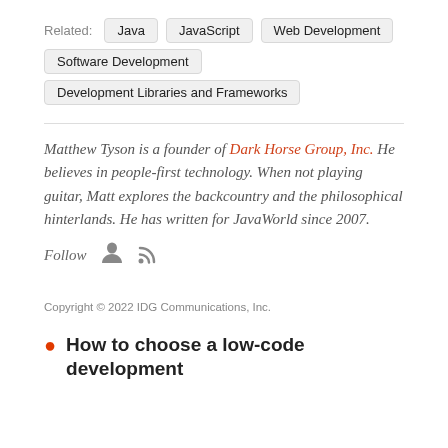Related: Java  JavaScript  Web Development  Software Development  Development Libraries and Frameworks
Matthew Tyson is a founder of Dark Horse Group, Inc. He believes in people-first technology. When not playing guitar, Matt explores the backcountry and the philosophical hinterlands. He has written for JavaWorld since 2007.
Follow
Copyright © 2022 IDG Communications, Inc.
How to choose a low-code development